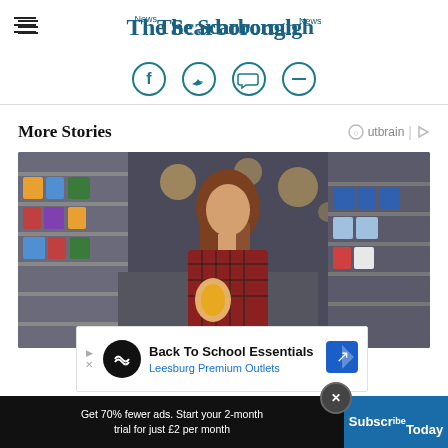The Scarborough News
[Figure (illustration): Social media icons row: Facebook, Twitter/face, speech-bubble, and minus/dash icons in teal circle outlines]
More Stories
[Figure (photo): Woman in a plaid shirt shopping in a supermarket aisle, looking at products on shelves, bokeh lights in background]
[Figure (infographic): Advertisement banner: Back To School Essentials - Leesburg Premium Outlets]
Get 70% fewer ads. Start your 2-month trial for just £2 per month
Subscribe Today